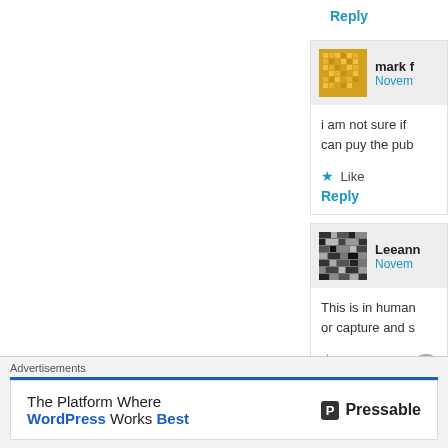Reply
mark f
Novem...
i am not sure if 
can puy the pub
Like
Reply
Leeann
Novem...
This is in human
or capture and s
Advertisements
The Platform Where
WordPress Works Best
Pressable